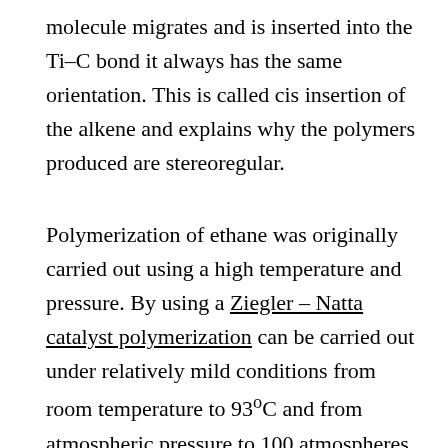molecule migrates and is inserted into the Ti–C bond it always has the same orientation. This is called cis insertion of the alkene and explains why the polymers produced are stereoregular.
Polymerization of ethane was originally carried out using a high temperature and pressure. By using a Ziegler – Natta catalyst polymerization can be carried out under relatively mild conditions from room temperature to 93°C and from atmospheric pressure to 100 atmospheres. Eventually, the product is hydrolysed with water or alcohol ad the catalyst is removed. The polymer produced is called high-density polythene and has a density 0.95 – 0.97 g cm⁻³